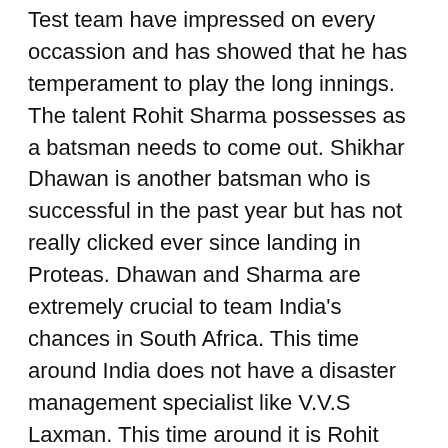Test team have impressed on every occassion and has showed that he has temperament to play the long innings. The talent Rohit Sharma possesses as a batsman needs to come out. Shikhar Dhawan is another batsman who is successful in the past year but has not really clicked ever since landing in Proteas. Dhawan and Sharma are extremely crucial to team India's chances in South Africa. This time around India does not have a disaster management specialist like V.V.S Laxman. This time around it is Rohit Sharma, who will be bestowed with that responsibility down the order. Ravichandran Ashwin's credentials as a batsman in addition to his skills as a bowler will help India in it's pursuit of glory. Sharma and Ashwin will come across situations where they will be needed to save the match. Both these have excellent temperament and seem to have a lot of time to play the ball, coupled with their technical expertise as batsmen.